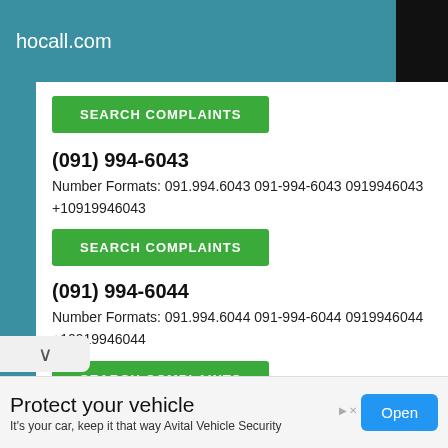hocall.com
[Figure (screenshot): Green SEARCH COMPLAINTS button]
(091) 994-6043
Number Formats: 091.994.6043 091-994-6043 0919946043 +10919946043
[Figure (screenshot): Green SEARCH COMPLAINTS button]
(091) 994-6044
Number Formats: 091.994.6044 091-994-6044 0919946044 +10919946044
[Figure (screenshot): Green SEARCH COMPLAINTS button]
Protect your vehicle
It's your car, keep it that way Avital Vehicle Security